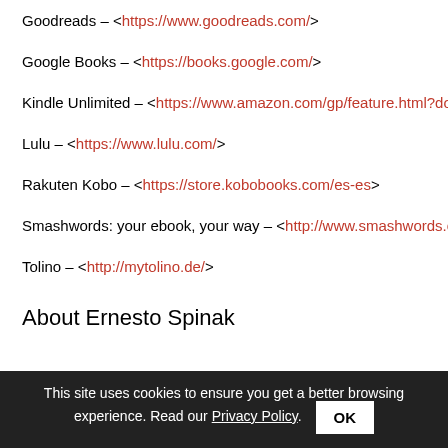Goodreads – <https://www.goodreads.com/>
Google Books – <https://books.google.com/>
Kindle Unlimited – <https://www.amazon.com/gp/feature.html?docId=
Lulu – <https://www.lulu.com/>
Rakuten Kobo – <https://store.kobobooks.com/es-es>
Smashwords: your ebook, your way – <http://www.smashwords.com/
Tolino – <http://mytolino.de/>
About Ernesto Spinak
This site uses cookies to ensure you get a better browsing experience. Read our Privacy Policy.